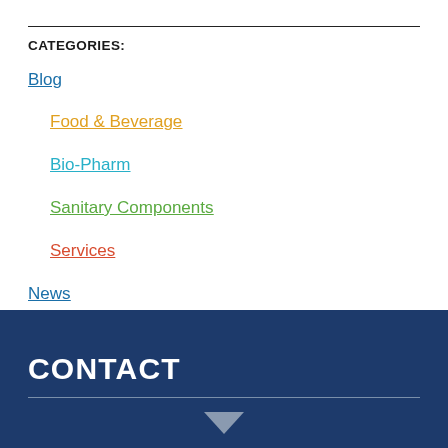CATEGORIES:
Blog
Food & Beverage
Bio-Pharm
Sanitary Components
Services
News
Events
CONTACT